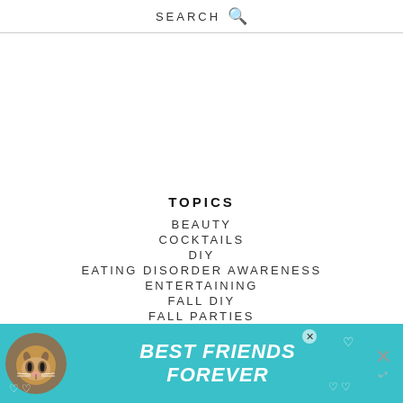SEARCH
TOPICS
BEAUTY
COCKTAILS
DIY
EATING DISORDER AWARENESS
ENTERTAINING
FALL DIY
FALL PARTIES
FLORALS
GIFT GUIDES
GUEST POSTS
HEALTHY LIVING
HOLIDAY PARTIES
HOLIDAY PROJECTS
[Figure (photo): Advertisement banner with cat image and text BEST FRIENDS FOREVER on teal background]